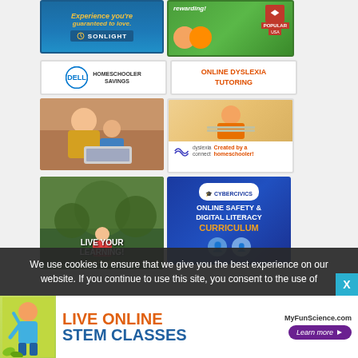[Figure (photo): Sonlight ad: blue background, 'guaranteed to love.' text, Sonlight logo]
[Figure (photo): Popular USA ad: green background with cartoon kids, 'rewarding!' text, Popular USA logo]
[Figure (photo): Dell Homeschooler Savings ad: Dell logo with 'HOMESCHOOLER SAVINGS' text]
[Figure (photo): Online Dyslexia Tutoring ad: orange/red text on white background]
[Figure (photo): Photo of mom and daughter using laptop together]
[Figure (photo): Dyslexia Connect ad: child at desk photo, 'Created by a homeschooler!' text]
[Figure (photo): Oak Meadow Live Your Learning ad: outdoor nature background with text]
[Figure (photo): CyberCivics Online Safety & Digital Literacy Curriculum ad]
We use cookies to ensure that we give you the best experience on our website. If you continue to use this site, you consent to the use of
[Figure (photo): MyFunScience.com Live Online STEM Classes banner ad with girl figure]
[Figure (photo): X close button for cookie/banner]